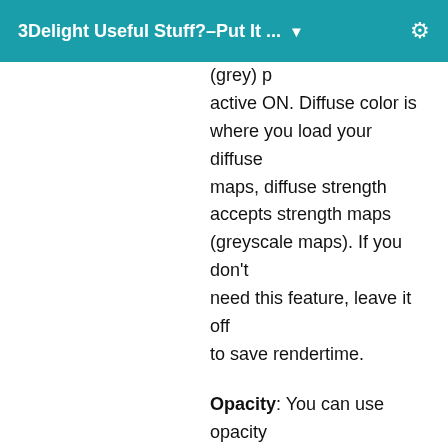3Delight Useful Stuff?–Put It ...
active ON. Diffuse color is where you load your diffuse maps, diffuse strength accepts strength maps (greyscale maps). If you don't need this feature, leave it off to save rendertime.
Opacity: You can use opacity masks if Opacity active is ON. More on that later.
Ambient: This controls the appearance of the emitter in render but has no impact on light intensity. Example...you make a light bulb emissive and want it to glow, turn on